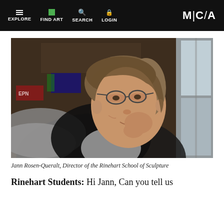EXPLORE  FIND ART  SEARCH  LOGIN  M|C|A
[Figure (photo): Portrait of a middle-aged woman with short brown and gray hair, wearing glasses and a gray shirt with black vest, resting her chin on her hand, seated near a window in what appears to be an art studio.]
Jann Rosen-Queralt, Director of the Rinehart School of Sculpture
Rinehart Students: Hi Jann, Can you tell us